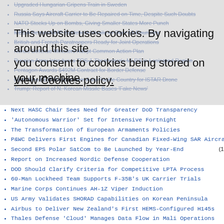Upgraded Hungarian Gripens Train in Sweden
Russia Says Aircraft Carrier to Be Repaired on Time, Despite Such Doubts
NATO Stocks Up on Bombs, Giving Smaller States More Punch
MBDA Demos MMP Battlefield Missile to Over 15 Countries
British and French Paratroopers Ready for Joint Operations
Nordic Defense Ministers Adopt Common Action Plan
Russian Army Introduces TOS-1 Thermobaric MLRS in Leningrad Region
Pentagon Awards $492M Contract for Border Defense
Elbit Wins $167M Order from Asia-Pacific Country for ISTAR Drone
Trump: Report of N. Korean Missile Bases 'Fake News'
This website uses cookies. By navigating around this site you consent to cookies being stored on your machine.
View Cookies policy.
Next HASC Chair Sees Need for Greater DoD Transparency
'Autonomous Warrior' Set for Intensive Fortnight
The Transformation of European Armaments Policies
P&WC Delivers First Engines for Canadian Fixed-Wing SAR Aircraft
Second EPS Polar SatCom to Be Launched by Year-End
Report on Increased Nordic Defense Cooperation
DOD Should Clarify Criteria for Competitive LPTA Process
60-Man Lockheed Team Supports F-35B's UK Carrier Trials
Marine Corps Continues AH-1Z Viper Induction
US Army Validates SHORAD Capabilities on Korean Peninsula
Airbus to Deliver New Zealand's First HEMS-Configured H145s
Thales Defense 'Cloud' Manages Data Flow in Mali Operations
Spain's Binter Orders Up to Five Embraer E195-E2s
Japanese, US Marines Conduct Integrated Training
US Navy LPD-21 Completes Trident Juncture in Norwegian Sea
India Prepares for Joint Exercise with Russia
Thales Alerts Forces on CUTA Plus Gunshot Detection System (partially visible)